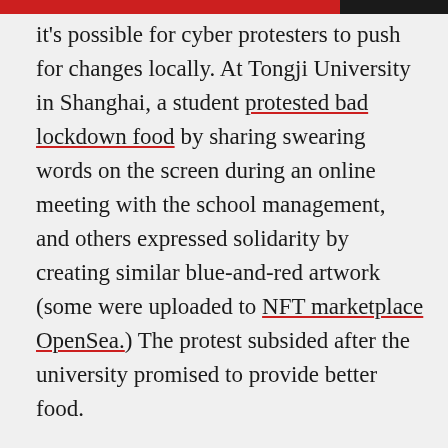it's possible for cyber protesters to push for changes locally. At Tongji University in Shanghai, a student protested bad lockdown food by sharing swearing words on the screen during an online meeting with the school management, and others expressed solidarity by creating similar blue-and-red artwork (some were uploaded to NFT marketplace OpenSea.) The protest subsided after the university promised to provide better food.
For others, creating even a fragile, temporary memory is in itself meaningful. The outpouring of online grief in the wake of Li and other whistleblowers' testimony allowed people to